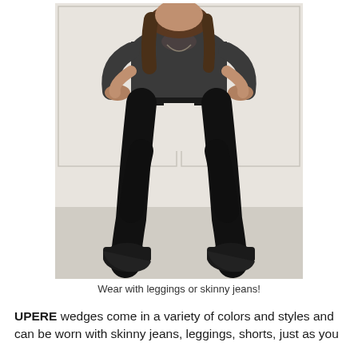[Figure (photo): A person wearing black skinny jeans or leggings, a dark grey long-sleeve top, and black wedge sneakers, posed with hands on hips against a white paneled wall background.]
Wear with leggings or skinny jeans!
UPERE wedges come in a variety of colors and styles and can be worn with skinny jeans, leggings, shorts, just as you